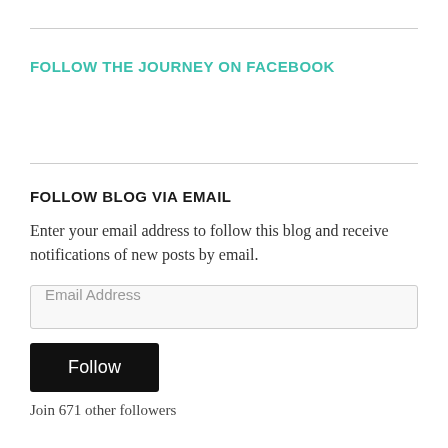FOLLOW THE JOURNEY ON FACEBOOK
FOLLOW BLOG VIA EMAIL
Enter your email address to follow this blog and receive notifications of new posts by email.
Join 671 other followers